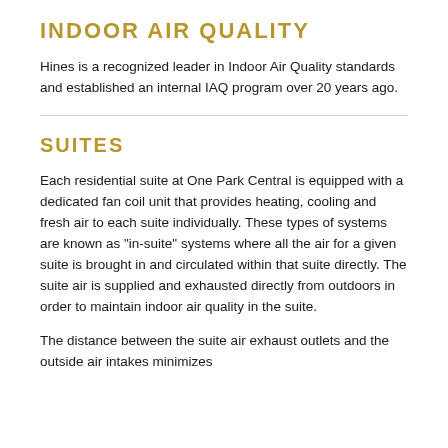INDOOR AIR QUALITY
Hines is a recognized leader in Indoor Air Quality standards and established an internal IAQ program over 20 years ago.
SUITES
Each residential suite at One Park Central is equipped with a dedicated fan coil unit that provides heating, cooling and fresh air to each suite individually. These types of systems are known as "in-suite" systems where all the air for a given suite is brought in and circulated within that suite directly. The suite air is supplied and exhausted directly from outdoors in order to maintain indoor air quality in the suite.
The distance between the suite air exhaust outlets and the outside air intakes minimizes